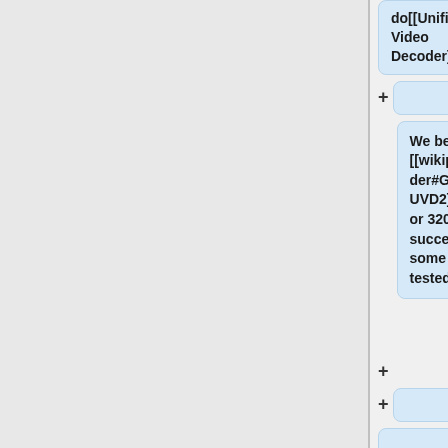do[[Unified Video Decoder]].
We believe you need a [[wikipedia:Unified_Video_Decoder#GPUs|GPU supporting UVD2]], like HD4xxx, 5xxx, 6xxx or 3200. One might have success with UVD+ GPU, like some HD 3xxx, but this isn't tested.